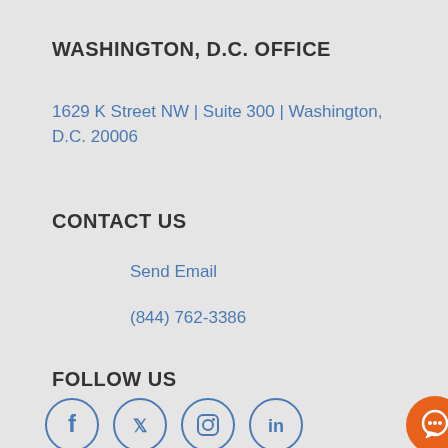WASHINGTON, D.C. OFFICE
1629 K Street NW | Suite 300 | Washington, D.C. 20006
CONTACT US
Send Email
(844) 762-3386
FOLLOW US
[Figure (illustration): Social media icons: Facebook, Twitter, Instagram, LinkedIn in blue circles, and an orange chat button]